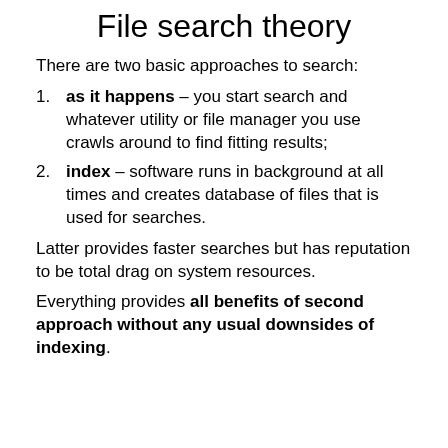File search theory
There are two basic approaches to search:
as it happens – you start search and whatever utility or file manager you use crawls around to find fitting results;
index – software runs in background at all times and creates database of files that is used for searches.
Latter provides faster searches but has reputation to be total drag on system resources.
Everything provides all benefits of second approach without any usual downsides of indexing.